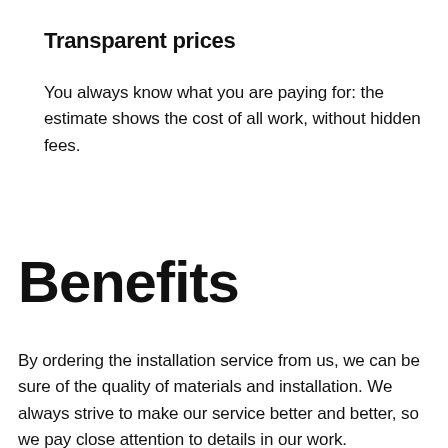Transparent prices
You always know what you are paying for: the estimate shows the cost of all work, without hidden fees.
Benefits
By ordering the installation service from us, we can be sure of the quality of materials and installation. We always strive to make our service better and better, so we pay close attention to details in our work.